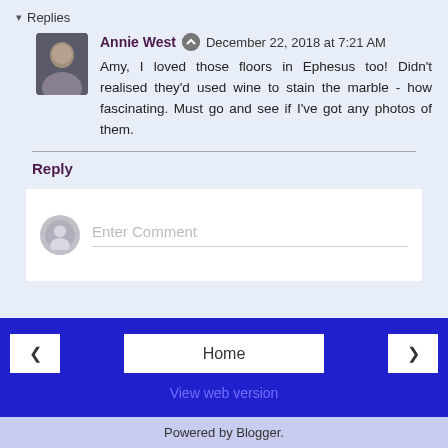▾ Replies
Annie West  December 22, 2018 at 7:21 AM
Amy, I loved those floors in Ephesus too! Didn't realised they'd used wine to stain the marble - how fascinating. Must go and see if I've got any photos of them.
Reply
Enter Comment
Home
View web version
Powered by Blogger.